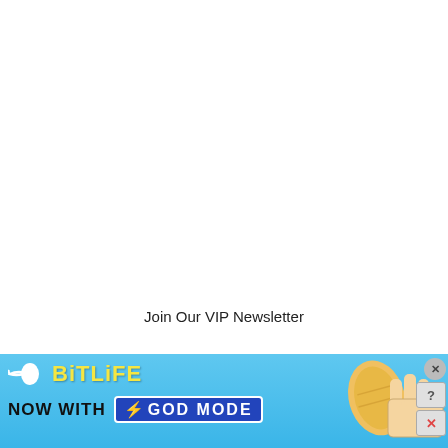Join Our VIP Newsletter
[Figure (illustration): BitLife advertisement banner with light blue background. Shows BitLife logo with sperm icon, yellow bold text 'BitLife', text 'NOW WITH' in black bold, a blue badge reading 'GOD MODE' with lightning bolt, and illustrated pointing hands on the right side. A close button (x) and help/dismiss buttons are overlaid in the top-right corner.]